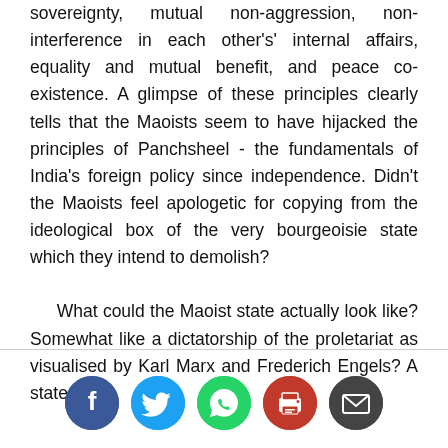sovereignty, mutual non-aggression, non-interference in each other's' internal affairs, equality and mutual benefit, and peace co-existence. A glimpse of these principles clearly tells that the Maoists seem to have hijacked the principles of Panchsheel - the fundamentals of India's foreign policy since independence. Didn't the Maoists feel apologetic for copying from the ideological box of the very bourgeoisie state which they intend to demolish?

What could the Maoist state actually look like? Somewhat like a dictatorship of the proletariat as visualised by Karl Marx and Frederich Engels? A state
[Figure (infographic): Social media sharing icons: Facebook (blue circle with f), Twitter (blue circle with bird), WhatsApp (green circle with phone), Print (red circle with printer), Email (dark grey circle with envelope)]